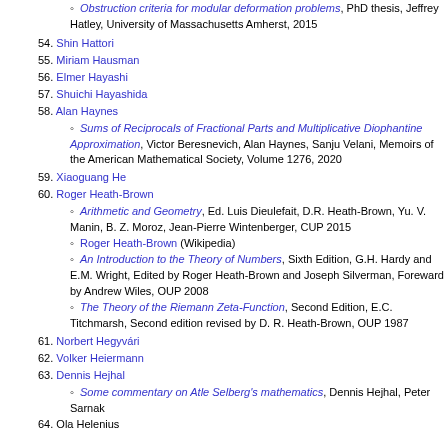Obstruction criteria for modular deformation problems, PhD thesis, Jeffrey Hatley, University of Massachusetts Amherst, 2015
54. Shin Hattori
55. Miriam Hausman
56. Elmer Hayashi
57. Shuichi Hayashida
58. Alan Haynes
Sums of Reciprocals of Fractional Parts and Multiplicative Diophantine Approximation, Victor Beresnevich, Alan Haynes, Sanju Velani, Memoirs of the American Mathematical Society, Volume 1276, 2020
59. Xiaoguang He
60. Roger Heath-Brown
Arithmetic and Geometry, Ed. Luis Dieulefait, D.R. Heath-Brown, Yu. V. Manin, B. Z. Moroz, Jean-Pierre Wintenberger, CUP 2015
Roger Heath-Brown (Wikipedia)
An Introduction to the Theory of Numbers, Sixth Edition, G.H. Hardy and E.M. Wright, Edited by Roger Heath-Brown and Joseph Silverman, Foreward by Andrew Wiles, OUP 2008
The Theory of the Riemann Zeta-Function, Second Edition, E.C. Titchmarsh, Second edition revised by D. R. Heath-Brown, OUP 1987
61. Norbert Hegyvári
62. Volker Heiermann
63. Dennis Hejhal
Some commentary on Atle Selberg's mathematics, Dennis Hejhal, Peter Sarnak
64. Ola Helenius